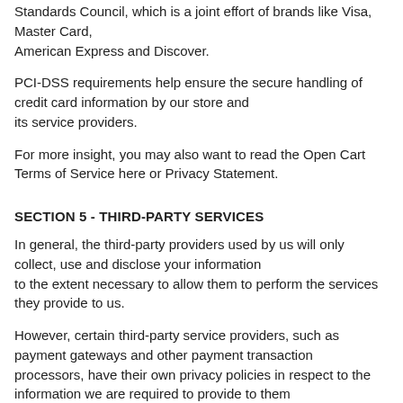Standards Council, which is a joint effort of brands like Visa, Master Card, American Express and Discover.
PCI-DSS requirements help ensure the secure handling of credit card information by our store and its service providers.
For more insight, you may also want to read the Open Cart Terms of Service here or Privacy Statement.
SECTION 5 - THIRD-PARTY SERVICES
In general, the third-party providers used by us will only collect, use and disclose your information to the extent necessary to allow them to perform the services they provide to us.
However, certain third-party service providers, such as payment gateways and other payment transaction processors, have their own privacy policies in respect to the information we are required to provide to them for your purchase-related transactions.
For these providers, we recommend that you read their privacy policies so you can understand the manner.